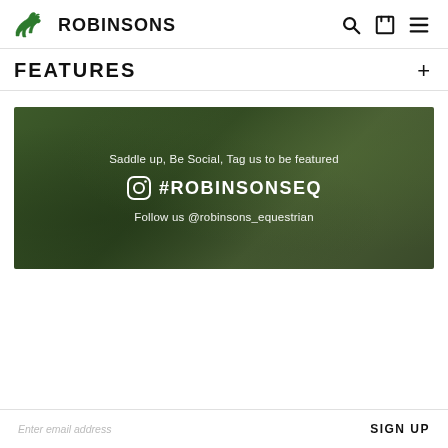ROBINSONS
FEATURES
[Figure (photo): Dark green blurred background banner promoting Robinsons Equestrian social media, with text: 'Saddle up, Be Social, Tag us to be featured', '#ROBINSONSEQ' with Instagram logo, and 'Follow us @robinsons_equestrian']
Enter email address
SIGN UP